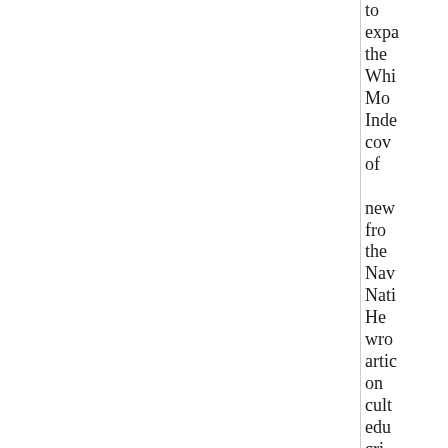to expa the Whi Mo Inde cov of new fro the Nav Nati He wro artic on cult edu cri justi and envi issu imp